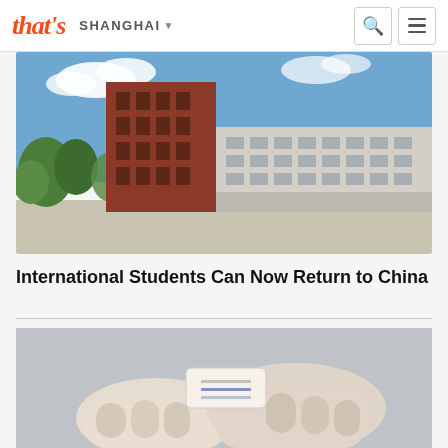that's | SHANGHAI
[Figure (photo): University building with red brick tower and white lower structure, blue sky with clouds, trees in foreground, open plaza area]
International Students Can Now Return to China
[Figure (photo): Hands holding a Covid rapid antigen test kit against a gray background]